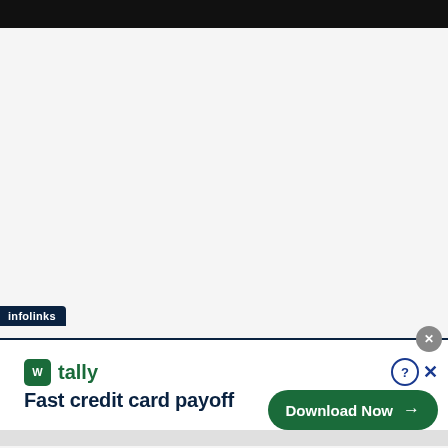[Figure (other): Black bar at the top of the page]
[Figure (other): Infolinks advertisement banner showing Tally app ad with 'Fast credit card payoff' text and a 'Download Now' button. Includes infolinks label tab at top-left of banner and close/question buttons at top-right.]